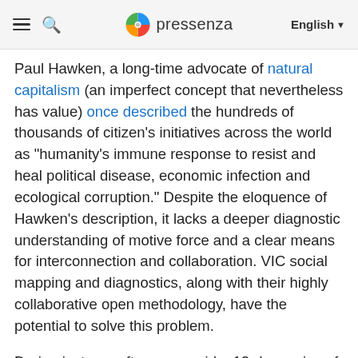pressenza  English
Paul Hawken, a long-time advocate of natural capitalism (an imperfect concept that nevertheless has value) once described the hundreds of thousands of citizen's initiatives across the world as “humanity’s immune response to resist and heal political disease, economic infection and ecological corruption.” Despite the eloquence of Hawken’s description, it lacks a deeper diagnostic understanding of motive force and a clear means for interconnection and collaboration. VIC social mapping and diagnostics, along with their highly collaborative open methodology, have the potential to solve this problem.
During just one afternoon amid a 12-day series of Open Labs fora titled “Cities that Learn” (“Ciudades